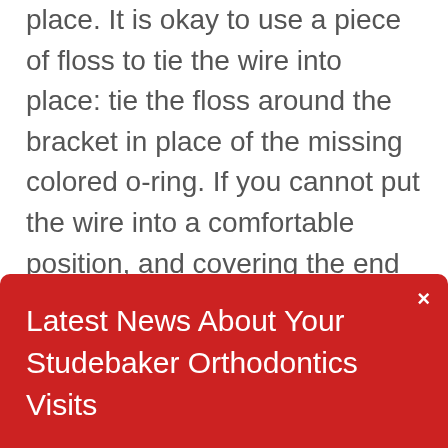place. It is okay to use a piece of floss to tie the wire into place: tie the floss around the bracket in place of the missing colored o-ring. If you cannot put the wire into a comfortable position, and covering the end with wax doesn't help, as a last resort use a small fingernail clipper to clip the wire behind the last tooth to which it is securely fastened. If the end of the wire is still sharp place wax on it.
Latest News About Your Studebaker Orthodontics Visits